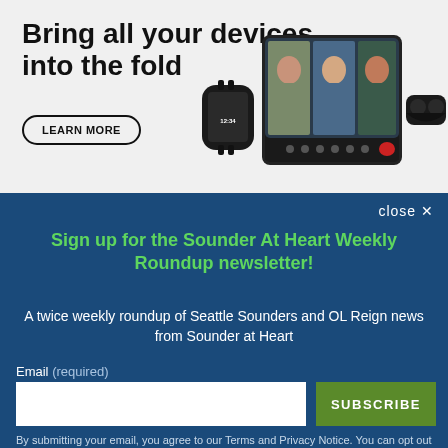[Figure (illustration): Advertisement banner showing Samsung devices including a smartwatch, foldable phone with video call open showing 3 people, and wireless earbuds. Gray background. Bold headline: 'Bring all your devices into the fold' with a 'LEARN MORE' button.]
close ✕
Sign up for the Sounder At Heart Weekly Roundup newsletter!
A twice weekly roundup of Seattle Sounders and OL Reign news from Sounder at Heart
Email (required)
SUBSCRIBE
By submitting your email, you agree to our Terms and Privacy Notice. You can opt out at any time. This site is protected by reCAPTCHA and the Google Privacy Policy and Terms of Service apply.